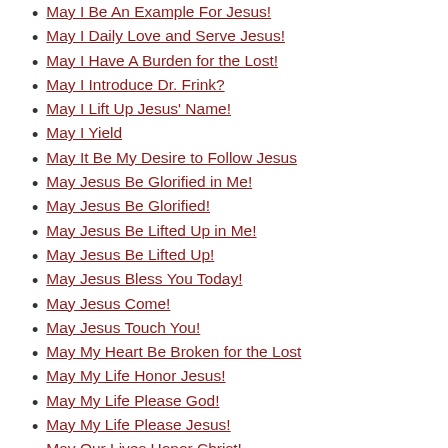May I Be An Example For Jesus!
May I Daily Love and Serve Jesus!
May I Have A Burden for the Lost!
May I Introduce Dr. Frink?
May I Lift Up Jesus' Name!
May I Yield
May It Be My Desire to Follow Jesus
May Jesus Be Glorified in Me!
May Jesus Be Glorified!
May Jesus Be Lifted Up in Me!
May Jesus Be Lifted Up!
May Jesus Bless You Today!
May Jesus Come!
May Jesus Touch You!
May My Heart Be Broken for the Lost
May My Life Honor Jesus!
May My Life Please God!
May My Life Please Jesus!
May Our Lives Honor Christ!
May Our Mind Be Filled With God's L
May Our Words Honor Christ!
May Our Words Honor God!
May Our Words Honor Jesus!
May The Blood Of Jesus Be Applied!
May the Love of Jesus Touch YOU!
May the Presence of God Move on Me!
May There Nothing Between Jesus an
May We Have a Servant's Heart!
May We Have an Old Fashioned Love F
May We Have the Attitude of Christ!